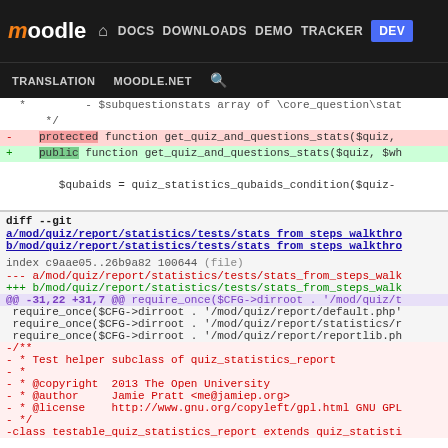moodle DOCS DOWNLOADS DEMO TRACKER DEV TRANSLATION MOODLE.NET
[Figure (screenshot): Code diff view showing PHP function visibility change from protected to public, and a git diff block with file paths and removed class definition for quiz_statistics_report]
* - $subquestionstats array of \core_question\stat
 */
- protected function get_quiz_and_questions_stats($quiz,
+ public function get_quiz_and_questions_stats($quiz, $wh
 $qubaids = quiz_statistics_qubaids_condition($quiz-
diff --git
a/mod/quiz/report/statistics/tests/stats from steps walkthrough
b/mod/quiz/report/statistics/tests/stats from steps walkthrough
index c9aae05..26b9a82 100644 (file)
--- a/mod/quiz/report/statistics/tests/stats_from_steps_walk
+++ b/mod/quiz/report/statistics/tests/stats_from_steps_walk
@@ -31,22 +31,7 @@ require_once($CFG->dirroot . '/mod/quiz/t
 require_once($CFG->dirroot . '/mod/quiz/report/default.php
 require_once($CFG->dirroot . '/mod/quiz/report/statistics/r
 require_once($CFG->dirroot . '/mod/quiz/report/reportlib.ph
-/**
- * Test helper subclass of quiz_statistics_report
- *
- * @copyright  2013 The Open University
- * @author     Jamie Pratt <me@jamiep.org>
- * @license    http://www.gnu.org/copyleft/gpl.html GNU GPL
- */
-class testable_quiz_statistics_report extends quiz_statisti